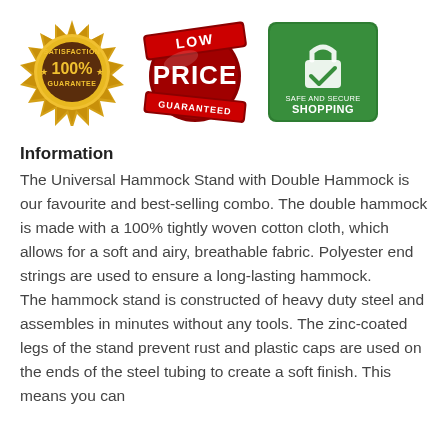[Figure (logo): Three trust badges: 100% Satisfaction Guarantee gold seal, Low Price Guaranteed red circular stamp, and Safe and Secure Shopping green square badge]
Information
The Universal Hammock Stand with Double Hammock is our favourite and best-selling combo. The double hammock is made with a 100% tightly woven cotton cloth, which allows for a soft and airy, breathable fabric. Polyester end strings are used to ensure a long-lasting hammock.
The hammock stand is constructed of heavy duty steel and assembles in minutes without any tools. The zinc-coated legs of the stand prevent rust and plastic caps are used on the ends of the steel tubing to create a soft finish. This means you can